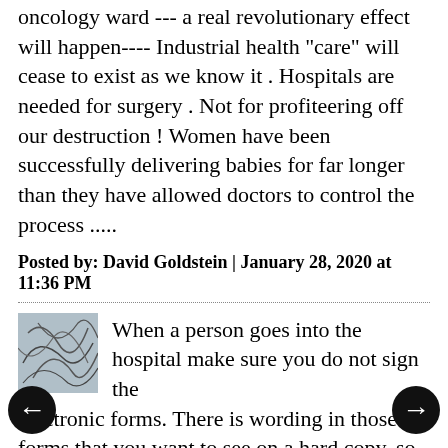oncology ward --- a real revolutionary effect will happen---- Industrial health "care" will cease to exist as we know it . Hospitals are needed for surgery . Not for profiteering off our destruction ! Women have been successfully delivering babies for far longer than they have allowed doctors to control the process .....
Posted by: David Goldstein | January 28, 2020 at 11:36 PM
[Figure (illustration): Small square avatar image with abstract scribble lines on a gray-blue background]
When a person goes into the hospital make sure you do not sign the electronic forms. There is wording in those forms that you want to see on a hard copy, so you can cross out and add what you need to, such as crossing out words like "biological,